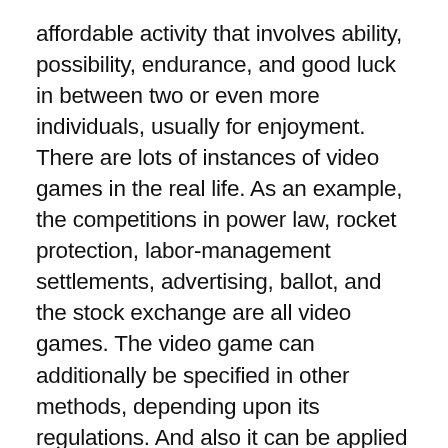affordable activity that involves ability, possibility, endurance, and good luck in between two or even more individuals, usually for enjoyment. There are lots of instances of video games in the real life. As an example, the competitions in power law, rocket protection, labor-management settlements, advertising, ballot, and the stock exchange are all video games. The video game can additionally be specified in other methods, depending upon its regulations. And also it can be applied to other situations that are not always video games.
A video game has lots of levels. It can be as simple as a chess game, or as complicated as a complex method game. In either instance, the strategy is a set of instructions that inform the player what to